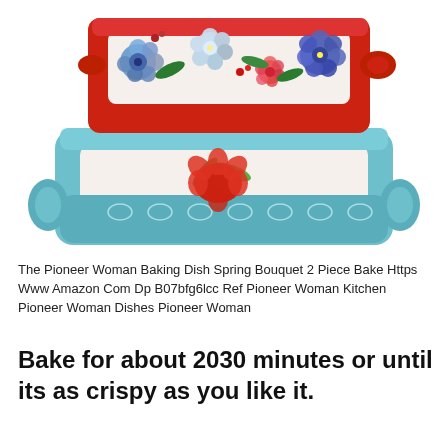[Figure (photo): Two Pioneer Woman ceramic baking dishes stacked. The top dish has a red exterior with colorful floral patterns (blue, red, pink flowers) and white interior. The bottom dish has a teal/light blue exterior with embossed white scroll pattern, white interior with a red and green floral bouquet design in the center, and scalloped handles.]
The Pioneer Woman Baking Dish Spring Bouquet 2 Piece Bake Https Www Amazon Com Dp B07bfg6lcc Ref Pioneer Woman Kitchen Pioneer Woman Dishes Pioneer Woman
Bake for about 2030 minutes or until its as crispy as you like it.